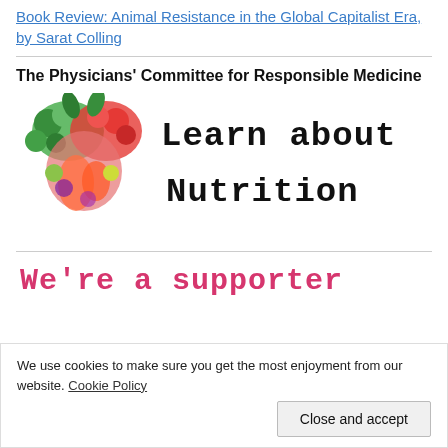Book Review: Animal Resistance in the Global Capitalist Era, by Sarat Colling
The Physicians' Committee for Responsible Medicine
[Figure (illustration): A heart shape made of colorful vegetables and fruits on the left, with the text 'Learn about Nutrition' in typewriter-style font on the right.]
We're a supporter
We use cookies to make sure you get the most enjoyment from our website. Cookie Policy
Close and accept